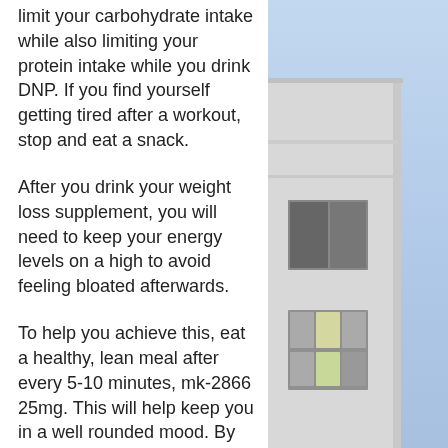limit your carbohydrate intake while also limiting your protein intake while you drink DNP. If you find yourself getting tired after a workout, stop and eat a snack.
After you drink your weight loss supplement, you will need to keep your energy levels on a high to avoid feeling bloated afterwards.
To help you achieve this, eat a healthy, lean meal after every 5-10 minutes, mk-2866 25mg. This will help keep you in a well rounded mood. By eating a nutritious meal, you will also help replenish your energy to ensure you perform at your best.
If you are having difficulty with your body fat, you need to consider replacing carbs with simple fats called polyunsaturated fatty acids, mk 2866 info0.
[Figure (photo): Photo of a building exterior with blue sky background, showing windows and facade detail on the right side of the page.]